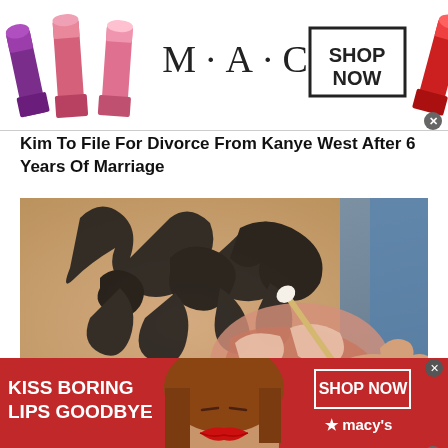[Figure (photo): MAC cosmetics advertisement banner with lipsticks on the left, MAC logo in the center, SHOP NOW box, and a red lipstick on the right]
Kim To File For Divorce From Kanye West After 6 Years Of Marriage
[Figure (photo): Close-up photo of a person's back with a tribal tattoo and what appears to be a skin treatment or wound being treated with a cotton swab]
[Figure (photo): Macy's advertisement banner with text KISS BORING LIPS GOODBYE, a woman model in the center, SHOP NOW box, and Macy's logo on the right, all on red background]